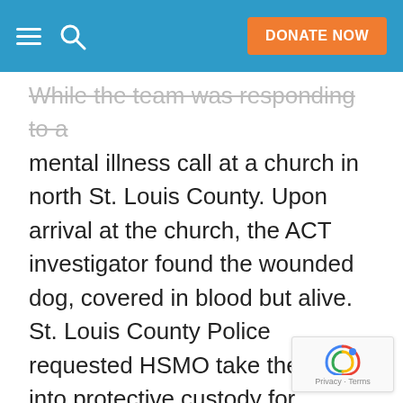DONATE NOW
While the team was responding to a mental illness call at a church in north St. Louis County. Upon arrival at the church, the ACT investigator found the wounded dog, covered in blood but alive. St. Louis County Police requested HSMO take the dog into protective custody for treatment and sheltering. Late afternoon Tuesday, the dog's owner voluntarily surrendered custody of Frannie to the Humane Society of Missouri.